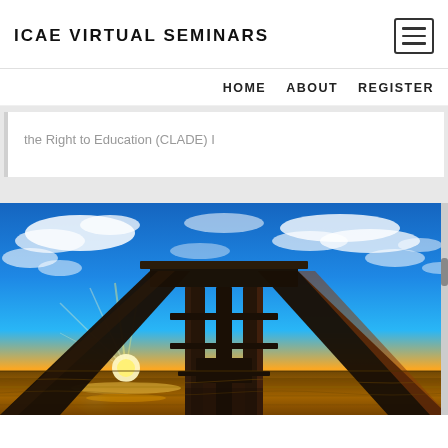ICAE VIRTUAL SEMINARS
HOME    ABOUT    REGISTER
the Right to Education (CLADE) I
[Figure (photo): Dramatic low-angle photo looking up from beneath a beach pier at sunset, with vivid blue sky, orange and yellow sunset light bursting from behind one of the wooden pier pilings, and ocean water reflecting the colorful sky below.]